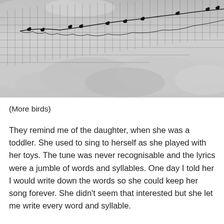[Figure (photo): Black and white photograph of birds perched on a wire fence or net stretched diagonally, with dramatic cloudy sky in the background.]
(More birds)
They remind me of the daughter, when she was a toddler. She used to sing to herself as she played with her toys. The tune was never recognisable and the lyrics were a jumble of words and syllables. One day I told her I would write down the words so she could keep her song forever. She didn't seem that interested but she let me write every word and syllable.